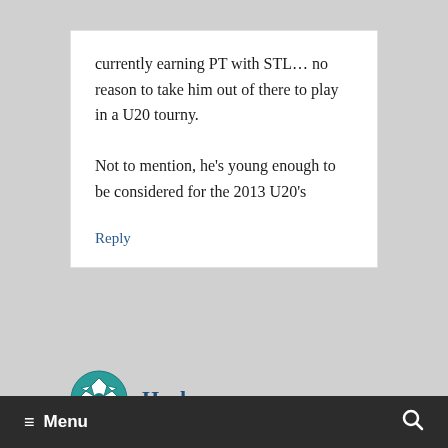currently earning PT with STL… no reason to take him out of there to play in a U20 tourny.

Not to mention, he's young enough to be considered for the 2013 U20's
Reply
Hush
≡ Menu